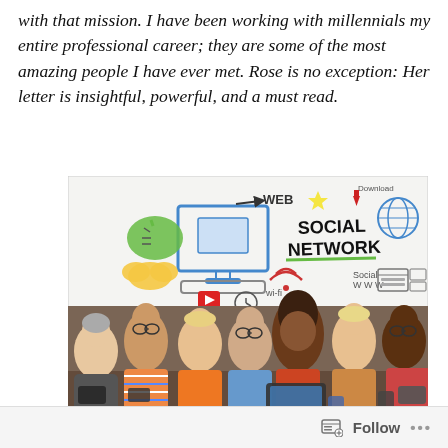with that mission. I have been working with millennials my entire professional career; they are some of the most amazing people I have ever met. Rose is no exception: Her letter is insightful, powerful, and a must read.
[Figure (photo): Group of young diverse millennials sitting around a table looking at phones and tablets, with a whiteboard illustration in the background showing social network concepts including WEB, SOCIAL NETWORK, Wi-Fi, and various icons.]
Follow ...